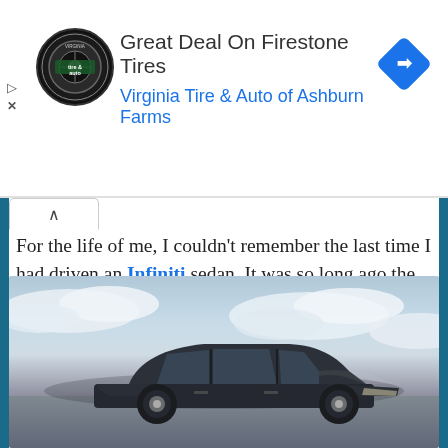[Figure (screenshot): Advertisement banner for Virginia Tire & Auto of Ashburn Farms featuring Firestone Tires deal. Shows circular logo with tire and auto text, ad title 'Great Deal On Firestone Tires', subtitle 'Virginia Tire & Auto of Ashburn Farms', and a blue diamond navigation icon.]
For the life of me, I couldn’t remember the last time I had driven an Infiniti sedan. It was so long ago the cars all had different names. What used to be known as the M sedan arrived in the test driveway as a 2018 Infiniti Q70L 5.6 Luxe.
[Figure (photo): Photo of a dark navy/charcoal Infiniti Q70L sedan photographed against a cloudy sky background, showing the car from a front three-quarter angle.]